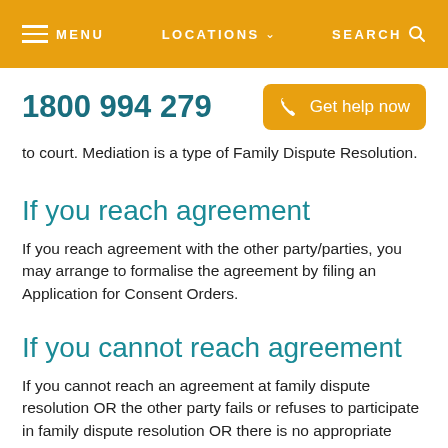MENU   LOCATIONS   SEARCH
1800 994 279
Get help now
to court. Mediation is a type of Family Dispute Resolution.
If you reach agreement
If you reach agreement with the other party/parties, you may arrange to formalise the agreement by filing an Application for Consent Orders.
If you cannot reach agreement
If you cannot reach an agreement at family dispute resolution OR the other party fails or refuses to participate in family dispute resolution OR there is no appropriate